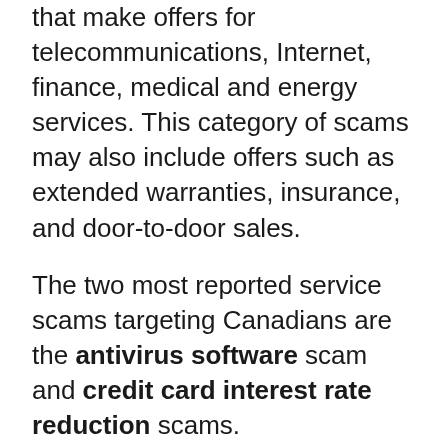These scams typically involve individuals that make offers for telecommunications, Internet, finance, medical and energy services. This category of scams may also include offers such as extended warranties, insurance, and door-to-door sales.
The two most reported service scams targeting Canadians are the antivirus software scam and credit card interest rate reduction scams.
The scammers involved in the antivirus software scam promise to repair your computer over the Internet. This can involve the installation of software or